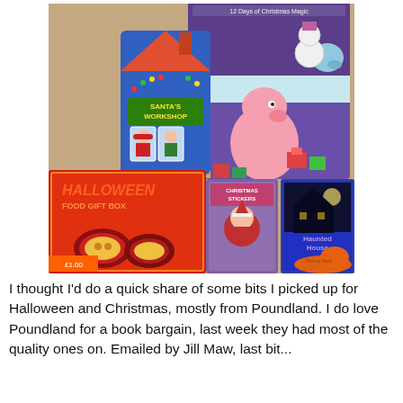[Figure (photo): A collection of Halloween and Christmas items laid out on a table including: a Peppa Pig advent calendar (Peppa Pig on a purple/blue background with snowman and George), a Santa's Workshop pop-up book, Halloween food packaging (cookies/biscuits with jack-o-lantern faces), a Christmas sticker book, and a Haunted House book/game. Items are from Poundland.]
I thought I'd do a quick share of some bits I picked up for Halloween and Christmas, mostly from Poundland. I do love Poundland for a book bargain, last week they had most of the quality ones on. Emailed by Jill Maw, last bit...